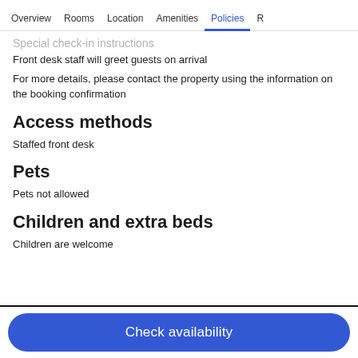Overview  Rooms  Location  Amenities  Policies  R
Special check-in instructions
Front desk staff will greet guests on arrival
For more details, please contact the property using the information on the booking confirmation
Access methods
Staffed front desk
Pets
Pets not allowed
Children and extra beds
Children are welcome
Check availability